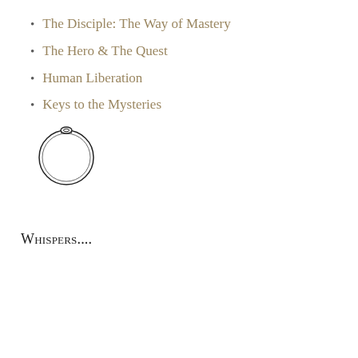The Disciple: The Way of Mastery
The Hero & The Quest
Human Liberation
Keys to the Mysteries
[Figure (illustration): A simple line drawing of a ring or binder ring, shown as a circle with a small clasp at the top.]
Whispers....